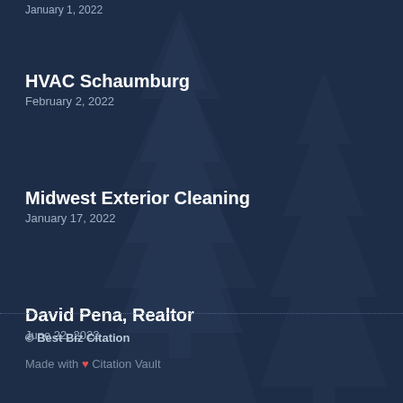HVAC Schaumburg
February 2, 2022
Midwest Exterior Cleaning
January 17, 2022
David Pena, Realtor
June 22, 2022
© Best Biz Citation
Made with ❤ Citation Vault